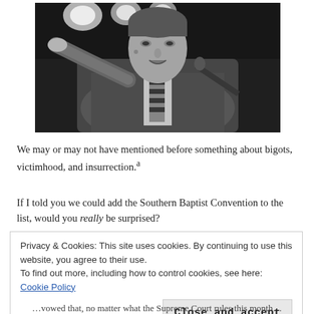[Figure (photo): Black and white photo of a man in a suit and striped tie, pointing with his right hand toward the camera while speaking, with stage lights visible in the background.]
We may or may not have mentioned before something about bigots, victimhood, and insurrection.ᵃ
If I told you we could add the Southern Baptist Convention to the list, would you really be surprised?
Privacy & Cookies: This site uses cookies. By continuing to use this website, you agree to their use.
To find out more, including how to control cookies, see here: Cookie Policy
Close and accept
…vowed that, no matter what the Supreme Court rules this month…